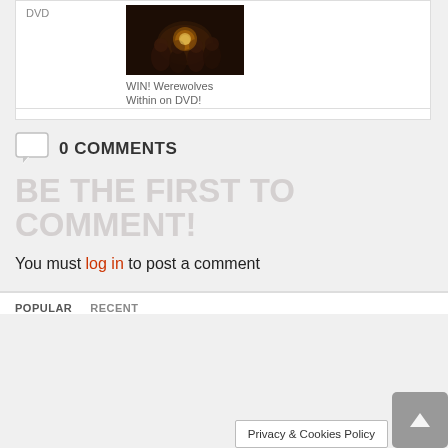DVD
[Figure (photo): Movie promotional image showing group of people gathered around a lantern in dark rustic setting]
WIN! Werewolves Within on DVD!
0 COMMENTS
BE THE FIRST TO COMMENT!
You must log in to post a comment
POPULAR   RECENT
Privacy & Cookies Policy